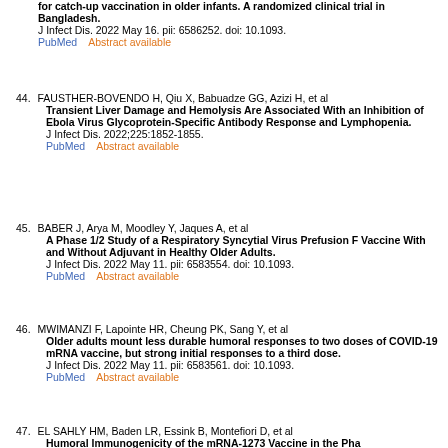for catch-up vaccination in older infants. A randomized clinical trial in Bangladesh. J Infect Dis. 2022 May 16. pii: 6586252. doi: 10.1093. PubMed   Abstract available
44. FAUSTHER-BOVENDO H, Qiu X, Babuadze GG, Azizi H, et al Transient Liver Damage and Hemolysis Are Associated With an Inhibition of Ebola Virus Glycoprotein-Specific Antibody Response and Lymphopenia. J Infect Dis. 2022;225:1852-1855. PubMed   Abstract available
45. BABER J, Arya M, Moodley Y, Jaques A, et al A Phase 1/2 Study of a Respiratory Syncytial Virus Prefusion F Vaccine With and Without Adjuvant in Healthy Older Adults. J Infect Dis. 2022 May 11. pii: 6583554. doi: 10.1093. PubMed   Abstract available
46. MWIMANZI F, Lapointe HR, Cheung PK, Sang Y, et al Older adults mount less durable humoral responses to two doses of COVID-19 mRNA vaccine, but strong initial responses to a third dose. J Infect Dis. 2022 May 11. pii: 6583561. doi: 10.1093. PubMed   Abstract available
47. EL SAHLY HM, Baden LR, Essink B, Montefiori D, et al Humoral Immunogenicity of the mRNA-1273 Vaccine in the Phase...